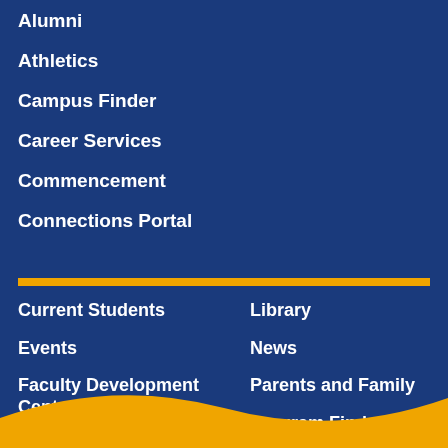Alumni
Athletics
Campus Finder
Career Services
Commencement
Connections Portal
Current Students
Events
Faculty Development Center
Faculty & Staff Direct
Library
News
Parents and Family
Program Finder